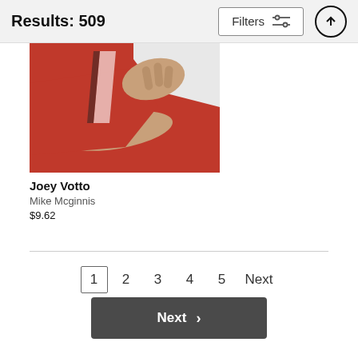Results: 509
[Figure (photo): Photo of Joey Votto in a red and white baseball uniform with arms crossed]
Joey Votto
Mike Mcginnis
$9.62
1  2  3  4  5  Next
Next >